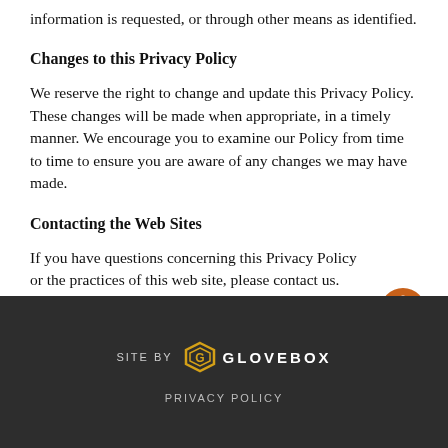information is requested, or through other means as identified.
Changes to this Privacy Policy
We reserve the right to change and update this Privacy Policy. These changes will be made when appropriate, in a timely manner. We encourage you to examine our Policy from time to time to ensure you are aware of any changes we may have made.
Contacting the Web Sites
If you have questions concerning this Privacy Policy or the practices of this web site, please contact us.
[Figure (logo): Accessibility icon - orange circle with wheelchair user symbol]
SITE BY GLOVEBOX
PRIVACY POLICY